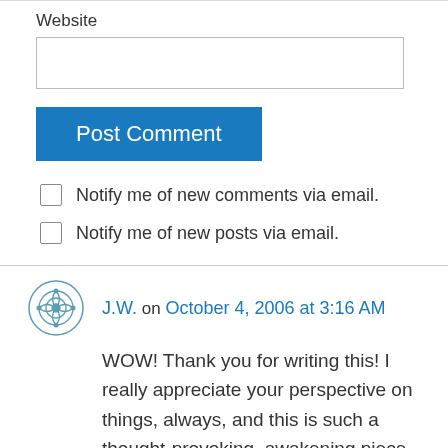Website
Post Comment
Notify me of new comments via email.
Notify me of new posts via email.
J.W. on October 4, 2006 at 3:16 AM
WOW! Thank you for writing this! I really appreciate your perspective on things, always, and this is such a thought-provoking, awakening piece.